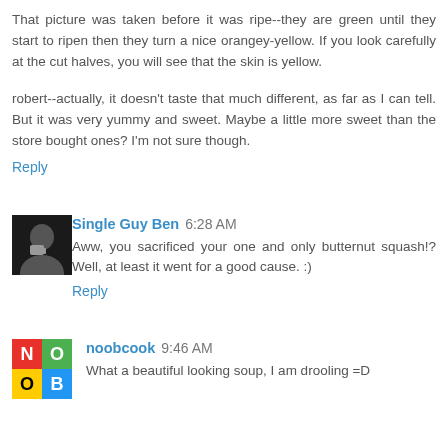That picture was taken before it was ripe--they are green until they start to ripen then they turn a nice orangey-yellow. If you look carefully at the cut halves, you will see that the skin is yellow.
robert--actually, it doesn't taste that much different, as far as I can tell. But it was very yummy and sweet. Maybe a little more sweet than the store bought ones? I'm not sure though.
Reply
Single Guy Ben 6:28 AM
Aww, you sacrificed your one and only butternut squash!? Well, at least it went for a good cause. :)
Reply
noobcook 9:46 AM
What a beautiful looking soup, I am drooling =D